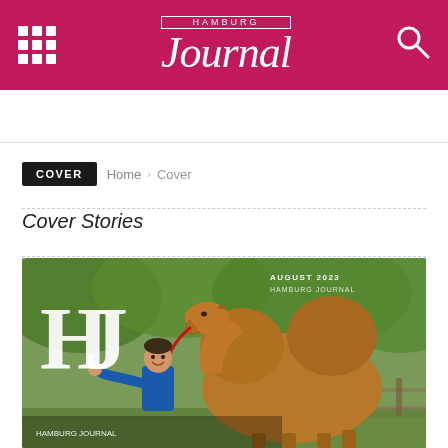Hamburg Journal
COVER  Home › Cover
Cover Stories
[Figure (photo): Magazine cover of Hamburg Journal, August 2023, showing a man in a blue shirt holding a red lead rope attached to a large brown two-humped camel (Bactrian camel), standing in front of a green park with trees and a wooden fence. The HJ initials logo appears in white on the left side of the cover.]